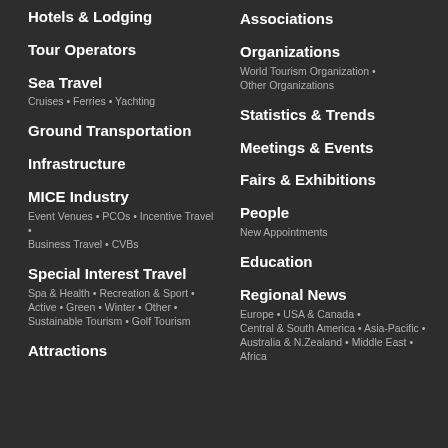Hotels & Lodging
Tour Operators
Sea Travel
Ground Transportation
Infrastructure
MICE Industry
Special Interest Travel
Attractions
Associations
Organizations
Statistics & Trends
Meetings & Events
Fairs & Exhibitions
People
Education
Regional News